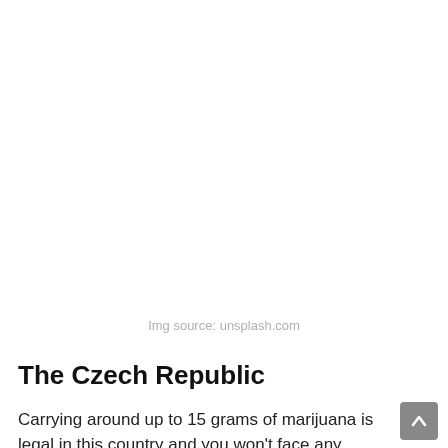[Figure (other): Blank white image area with image source credit below]
Img source: unsplash.com
The Czech Republic
Carrying around up to 15 grams of marijuana is legal in this country and you won't face any